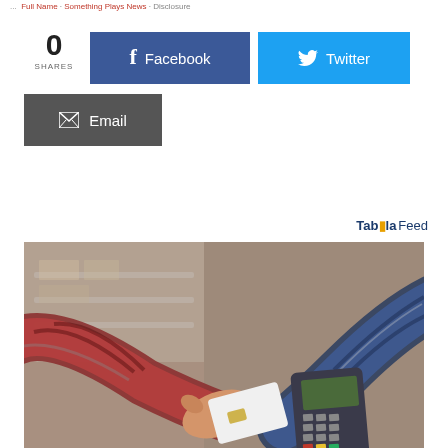...  · Full Name · Something Plays News · Disclosure
0
SHARES
Facebook
Twitter
Email
Taboola Feed
[Figure (photo): Two people in plaid shirts. One hand holds a white chip credit card being tapped on a handheld card payment terminal held by the other person. Warehouse or retail background, blurred.]